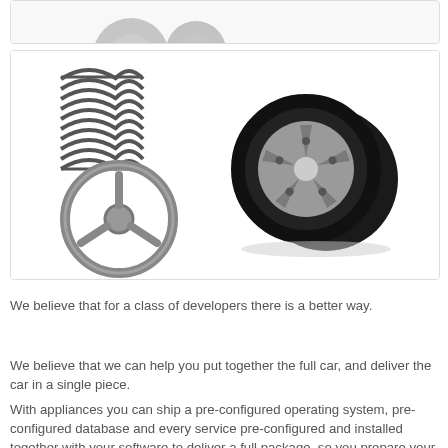[Figure (illustration): Partial view of car parts at the top edge of the page (gears/mechanical parts visible)]
[Figure (illustration): Illustration showing automotive parts: two coil springs (top left), a steering wheel (bottom left), and a stack of tires with alloy wheel (right side)]
We believe that for a class of developers there is a better way.
We believe that we can help you put together the full car, and deliver the car in a single piece.
With appliances you can ship a pre-configured operating system, pre-configured database and every service pre-configured and installed together with your software to deliver a full package, so you prepare your software for